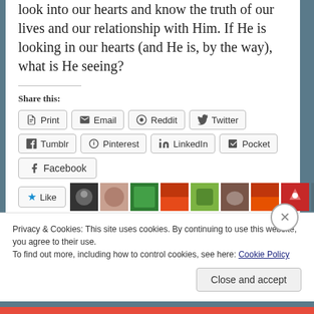nicely we speak. Jesus knows. Our Lord is able to look into our hearts and know the truth of our lives and our relationship with Him. If He is looking in our hearts (and He is, by the way), what is He seeing?
Share this:
Print  Email  Reddit  Twitter  Tumblr  Pinterest  LinkedIn  Pocket  Facebook
[Figure (screenshot): Like button and blogger avatar images row]
31 bloggers like this.
Privacy & Cookies: This site uses cookies. By continuing to use this website, you agree to their use.
To find out more, including how to control cookies, see here: Cookie Policy
Close and accept